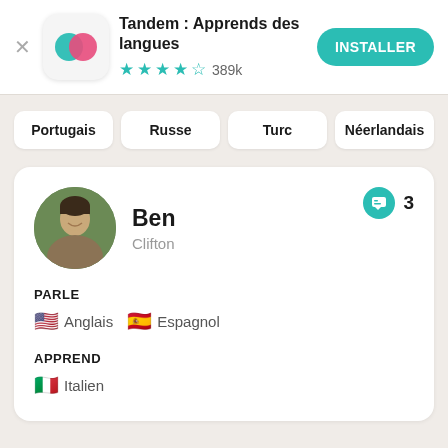[Figure (screenshot): Tandem app advertisement banner with app icon (overlapping teal and pink circles), app name, star rating, and install button]
Tandem : Apprends des langues
389k
INSTALLER
Portugais
Russe
Turc
Néerlandais
Ben
Clifton
3
PARLE
Anglais   Espagnol
APPREND
Italien